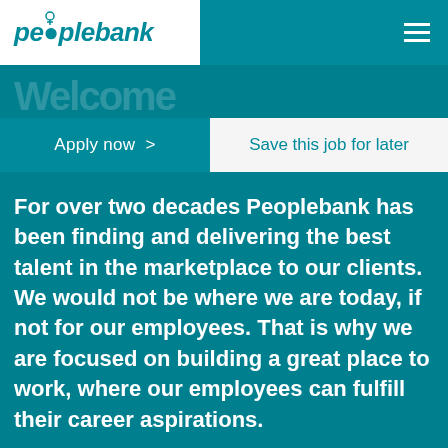peoplebank
Apply now >    Save this job for later
For over two decades Peoplebank has been finding and delivering the best talent in the marketplace to our clients. We would not be where we are today, if not for our employees. That is why we are focused on building a great place to work, where our employees can fulfill their career aspirations.